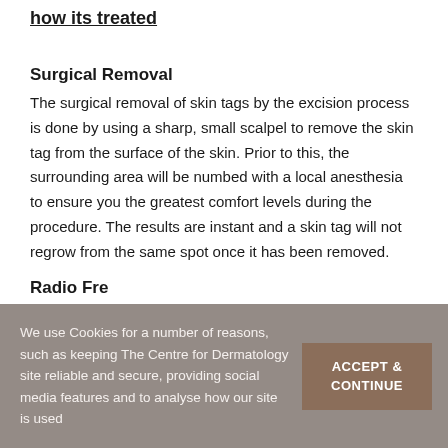how its treated
Surgical Removal
The surgical removal of skin tags by the excision process is done by using a sharp, small scalpel to remove the skin tag from the surface of the skin. Prior to this, the surrounding area will be numbed with a local anesthesia to ensure you the greatest comfort levels during the procedure. The results are instant and a skin tag will not regrow from the same spot once it has been removed.
Radio Fre...
We use Cookies for a number of reasons, such as keeping The Centre for Dermatology site reliable and secure, providing social media features and to analyse how our site is used